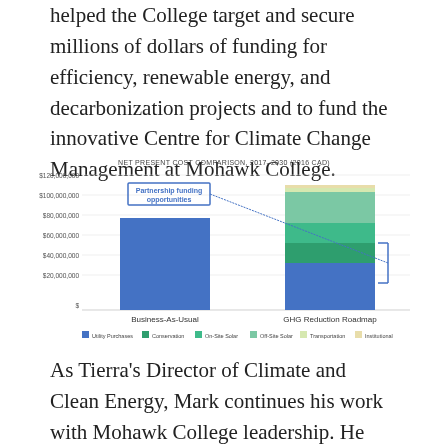helped the College target and secure millions of dollars of funding for efficiency, renewable energy, and decarbonization projects and to fund the innovative Centre for Climate Change Management at Mohawk College.
[Figure (stacked-bar-chart): NET PRESENT COST COMPARISON, 2017–2030 (2016 CAD)]
As Tierra's Director of Climate and Clean Energy, Mark continues his work with Mohawk College leadership. He provides insights to